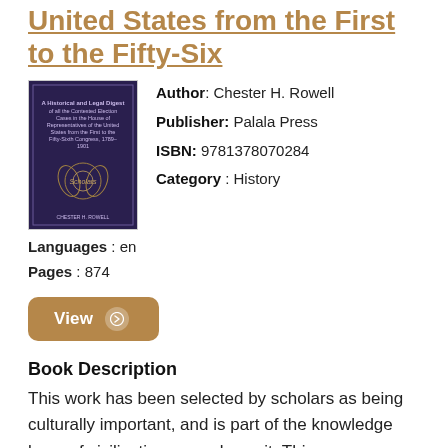United States from the First to the Fifty-Six
[Figure (illustration): Book cover thumbnail showing a dark purple/navy book cover with title text and a laurel wreath emblem]
Author: Chester H. Rowell
Publisher: Palala Press
ISBN: 9781378070284
Category: History
Languages: en
Pages: 874
View →
Book Description
This work has been selected by scholars as being culturally important, and is part of the knowledge base of civilization as we know it. This